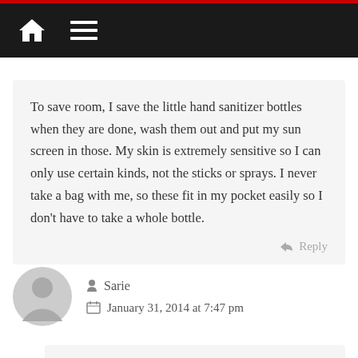Navigation bar with home and menu icons
To save room, I save the little hand sanitizer bottles when they are done, wash them out and put my sun screen in those. My skin is extremely sensitive so I can only use certain kinds, not the sticks or sprays. I never take a bag with me, so these fit in my pocket easily so I don't have to take a whole bottle.
Reply
[Figure (illustration): Gray circular avatar/user icon]
Sarie
January 31, 2014 at 7:47 pm
Great idea Lauren. I am going to try that for our sun screen